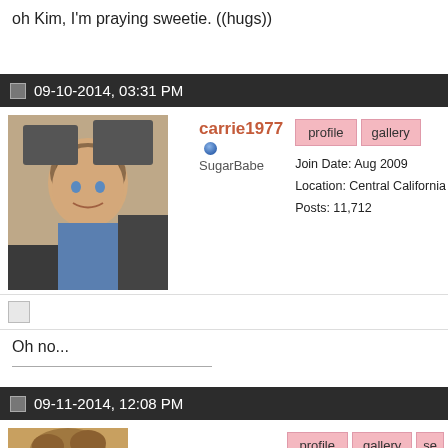oh Kim, I'm praying sweetie. ((hugs))
09-10-2014, 03:31 PM
[Figure (photo): Profile photo of carrie1977, a woman with brown/blonde hair, smiling, in an indoor setting]
carrie1977
SugarBabe
Join Date: Aug 2009
Location: Central California
Posts: 11,712
Oh no...
09-11-2014, 12:08 PM
[Figure (photo): Partial profile photo of another user, showing hair/top of head]